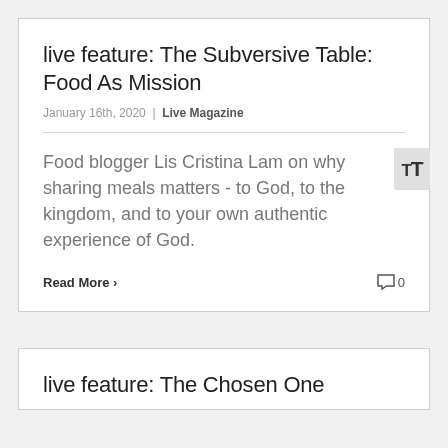live feature: The Subversive Table: Food As Mission
January 16th, 2020  |  Live Magazine
Food blogger Lis Cristina Lam on why sharing meals matters - to God, to the kingdom, and to your own authentic experience of God.
Read More
0
live feature: The Chosen One